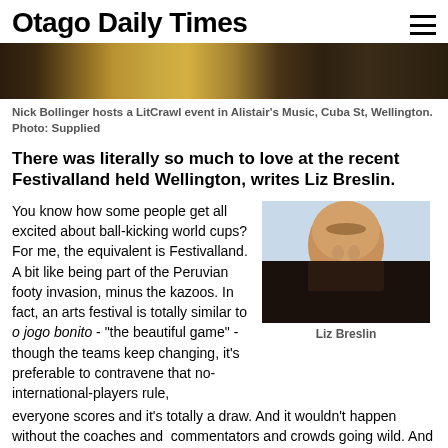Otago Daily Times
[Figure (photo): Banner photo of a LitCrawl event in a music venue, showing people at what appears to be a performance or reading event]
Nick Bollinger hosts a LitCrawl event in Alistair's Music, Cuba St, Wellington. Photo: Supplied
There was literally so much to love at the recent Festivalland held Wellington, writes Liz Breslin.
You know how some people get all excited about ball-kicking world cups? For me, the equivalent is Festivalland. A bit like being part of the Peruvian footy invasion, minus the kazoos. In fact, an arts festival is totally similar to o jogo bonito - "the beautiful game" - though the teams keep changing, it's preferable to contravene that no-international-players rule, everyone scores and it's totally a draw. And it wouldn't happen without the coaches and commentators and crowds going wild. And I think I might leave that metaphor there before it is absolutely
[Figure (photo): Portrait photo of Liz Breslin, a woman with long light brown hair, smiling, with a blue sky background]
Liz Breslin